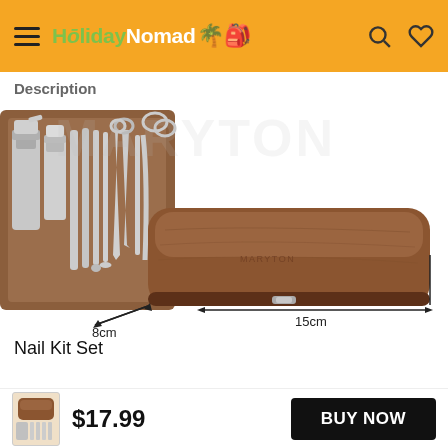HolidayNomad (navigation bar with hamburger menu, logo, search and wishlist icons)
Description
[Figure (photo): Product photo of a manicure/nail kit set showing stainless steel tools laid out on a brown leather case background, plus the brown leather case with dimensions: 8cm width x 15cm length]
Nail Kit Set
$17.99  BUY NOW